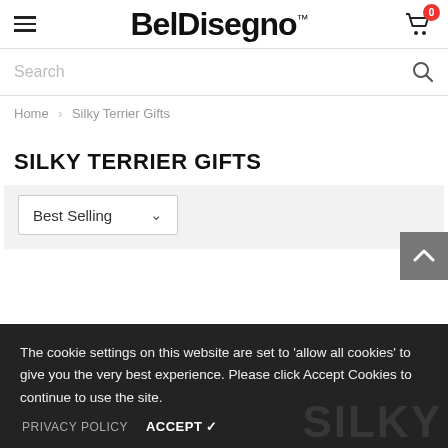BelDisegno™
Search
Home > Silky Terrier Gifts
SILKY TERRIER GIFTS
Best Selling
The cookie settings on this website are set to 'allow all cookies' to give you the very best experience. Please click Accept Cookies to continue to use the site.
PRIVACY POLICY   ACCEPT ✓